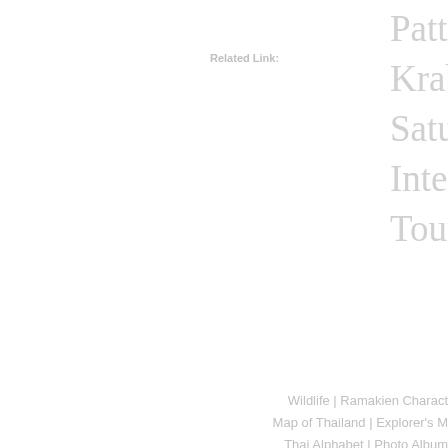Related Link:
Pattaya or Pa... Krabi, Phang... Satun, Phi Phi... International ... Tourist Spots ...
Wildlife | Ramakien Charact... Map of Thailand | Explorer's M... Thai Alphabet | Photo Album... Travel Blog | Proverbs &...